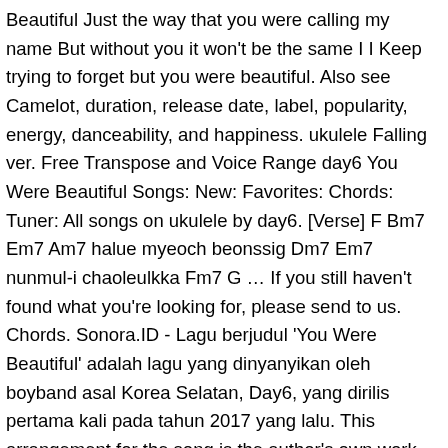Beautiful Just the way that you were calling my name But without you it won't be the same I I Keep trying to forget but you were beautiful. Also see Camelot, duration, release date, label, popularity, energy, danceability, and happiness. ukulele Falling ver. Free Transpose and Voice Range day6 You Were Beautiful Songs: New: Favorites: Chords: Tuner: All songs on ukulele by day6. [Verse] F Bm7 Em7 Am7 halue myeoch beonssig Dm7 Em7 nunmul-i chaoleulkka Fm7 G … If you still haven't found what you're looking for, please send to us. Chords. Sonora.ID - Lagu berjudul 'You Were Beautiful' adalah lagu yang dinyanyikan oleh boyband asal Korea Selatan, Day6, yang dirilis pertama kali pada tahun 2017 yang lalu. This arrangement for the song is the author's own work and represents their interpretation of the song. 'Simply the best' – the most popular articles of 2020 are…, Songs Explained Xmas Special — Silent Night on piano, guitar and ukulele, DAY6 "You Were Beautiful(예뻤어) - COVER (Ukulele instrumental), Similar to DAY6 "You Were Beautiful(예뻤어) - COVER